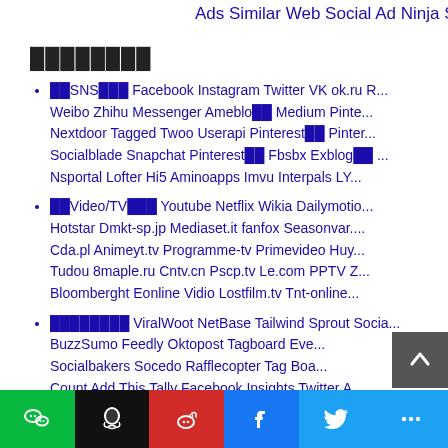Ads Similar Web Social Ad Ninja Spy Adz What...
████████
██SNS███ Facebook Instagram Twitter VK ok.ru R... Weibo Zhihu Messenger Ameblo██ Medium Pinte... Nextdoor Tagged Twoo Userapi Pinterest██ Pinter... Socialblade Snapchat Pinterest██ Fbsbx Exblog██ ... Nsportal Lofter Hi5 Aminoapps Imvu Interpals LY...
██Video/TV███ Youtube Netflix Wikia Dailymotio... Hotstar Dmkt-sp.jp Mediaset.it fanfox Seasonvar.... Cda.pl Animeyt.tv Programme-tv Primevideo Huy... Tudou 8maple.ru Cntv.cn Pscp.tv Le.com PPTV Z... Bloomberght Eonline Vidio Lostfilm.tv Tnt-online...
████████ ViralWoot NetBase Tailwind Sprout Socia... BuzzSumo Feedly Oktopost Tagboard Eve... Socialbakers Socedo Rafflecopter Tag Boa... Count Add This Tally Facebook Insights Twitter A... YouTube Analytics Audiense Buffer Cyfe Followe... Klout Peakfeed SocialRank SumAll TweetReach ...